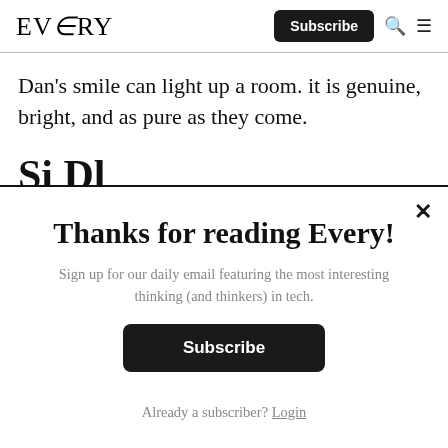EVERY | Subscribe
Dan's smile can light up a room. it is genuine, bright, and as pure as they come.
S...i D...l...
Thanks for reading Every!
Sign up for our daily email featuring the most interesting thinking (and thinkers) in tech.
Subscribe
Already a subscriber? Login